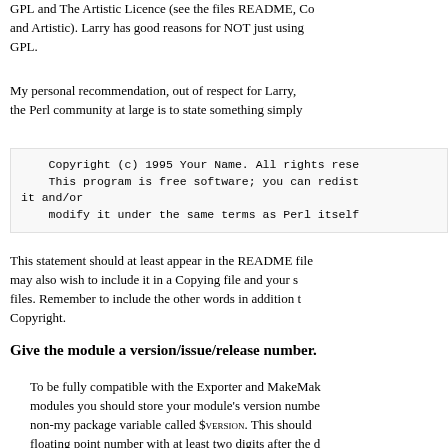Perl, for example, is supplied with two types of licences: GPL and The Artistic Licence (see the files README, Copying and Artistic). Larry has good reasons for NOT just using the GPL.
My personal recommendation, out of respect for Larry, and the Perl community at large is to state something simply like:
Copyright (c) 1995 Your Name. All rights reserved.
This program is free software; you can redistribute it and/or
modify it under the same terms as Perl itself.
This statement should at least appear in the README file. You may also wish to include it in a Copying file and your source files. Remember to include the other words in addition to the Copyright.
Give the module a version/issue/release number.
To be fully compatible with the Exporter and MakeMaker modules you should store your module's version number in a non-my package variable called $VERSION. This should be a floating point number with at least two digits after the decimal (i.e., hundredths, e.g, $VERSION = "0.01"). Don't use a style version. See Exporter.pm in Perl5.001m or later fo